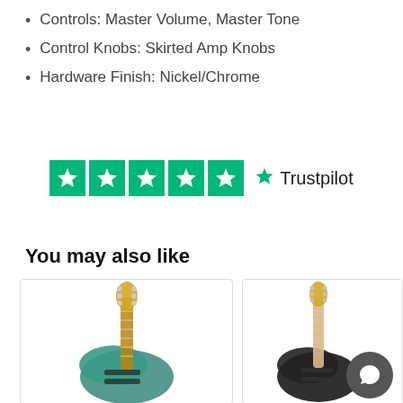Controls: Master Volume, Master Tone
Control Knobs: Skirted Amp Knobs
Hardware Finish: Nickel/Chrome
[Figure (logo): Trustpilot logo with 5 green star rating boxes and Trustpilot brand name]
You may also like
[Figure (photo): Fender Stratocaster electric guitar in teal/ocean color with rosewood fretboard, angled view]
[Figure (photo): Fender Stratocaster electric guitar in black with maple fretboard, angled view, with chat bubble overlay]